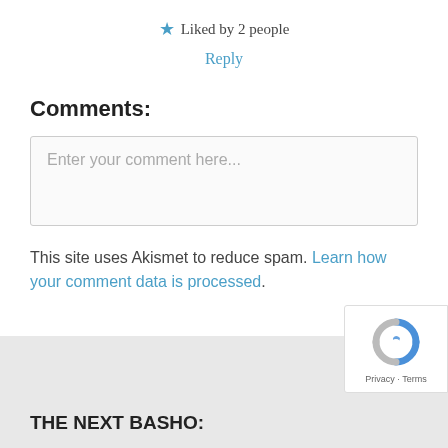★ Liked by 2 people
Reply
Comments:
Enter your comment here...
This site uses Akismet to reduce spam. Learn how your comment data is processed.
THE NEXT BASHO:
[Figure (logo): reCAPTCHA badge with logo and Privacy · Terms text]